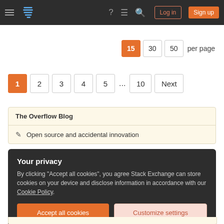Stack Exchange navigation bar with Log in and Sign up buttons
15 30 50 per page
1 2 3 4 5 ... 10 Next
The Overflow Blog
✎ Open source and accidental innovation
Your privacy
By clicking "Accept all cookies", you agree Stack Exchange can store cookies on your device and disclose information in accordance with our Cookie Policy.
Accept all cookies
Customize settings